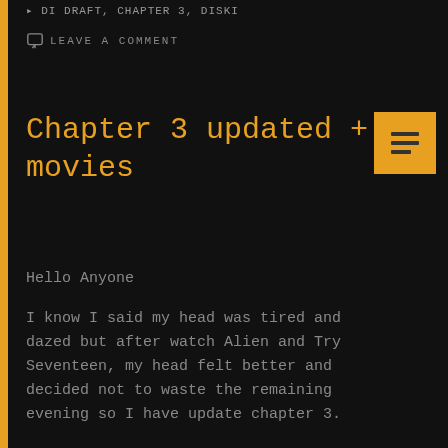DRAFT, CHAPTER 3, DISKI
LEAVE A COMMENT
Chapter 3 updated + movies
Hello Anyone
I know I said my head was tired and dazed but after watch Alien and Try Seventeen, my head felt better and decided not to waste the remaining evening so I have update chapter 3.